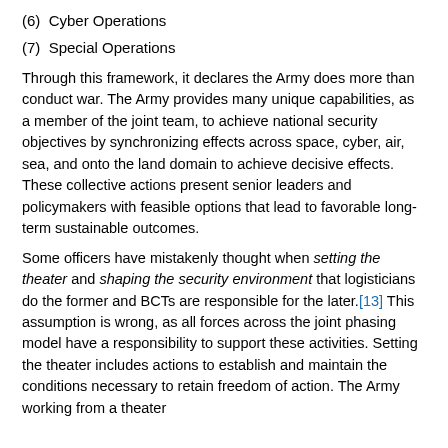(6)  Cyber Operations
(7)  Special Operations
Through this framework, it declares the Army does more than conduct war. The Army provides many unique capabilities, as a member of the joint team, to achieve national security objectives by synchronizing effects across space, cyber, air, sea, and onto the land domain to achieve decisive effects. These collective actions present senior leaders and policymakers with feasible options that lead to favorable long-term sustainable outcomes.
Some officers have mistakenly thought when setting the theater and shaping the security environment that logisticians do the former and BCTs are responsible for the later.[13] This assumption is wrong, as all forces across the joint phasing model have a responsibility to support these activities. Setting the theater includes actions to establish and maintain the conditions necessary to retain freedom of action. The Army working from a theater...